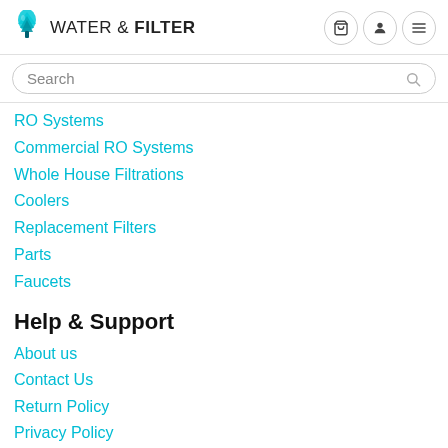WATER & FILTER
RO Systems
Commercial RO Systems
Whole House Filtrations
Coolers
Replacement Filters
Parts
Faucets
Help & Support
About us
Contact Us
Return Policy
Privacy Policy
Terms of Service